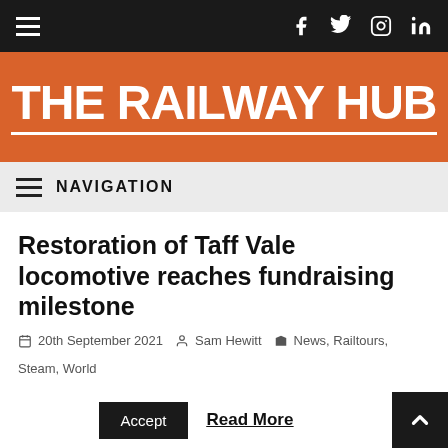THE RAILWAY HUB
Restoration of Taff Vale locomotive reaches fundraising milestone
20th September 2021   Sam Hewitt   News, Railtours, Steam, World
This website uses cookies to improve your experience. We'll assume you're ok with this, but you can opt-out if you wish.
Accept   Read More